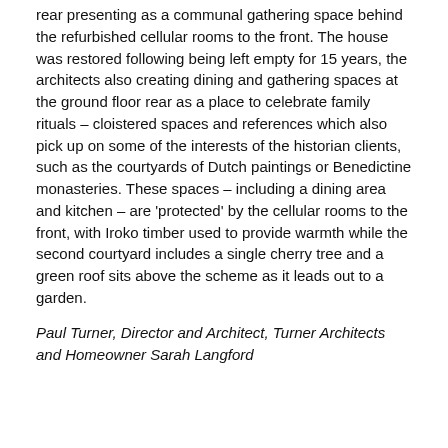rear presenting as a communal gathering space behind the refurbished cellular rooms to the front. The house was restored following being left empty for 15 years, the architects also creating dining and gathering spaces at the ground floor rear as a place to celebrate family rituals – cloistered spaces and references which also pick up on some of the interests of the historian clients, such as the courtyards of Dutch paintings or Benedictine monasteries. These spaces – including a dining area and kitchen – are 'protected' by the cellular rooms to the front, with Iroko timber used to provide warmth while the second courtyard includes a single cherry tree and a green roof sits above the scheme as it leads out to a garden.
Paul Turner, Director and Architect, Turner Architects and Homeowner Sarah Langford